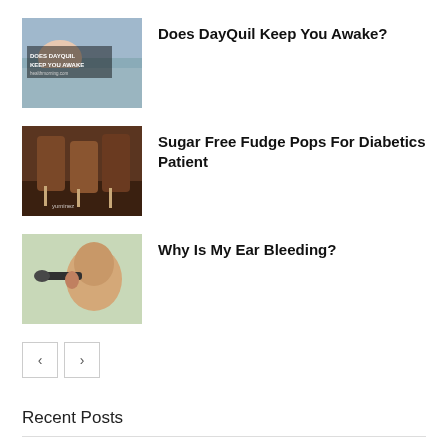[Figure (photo): Thumbnail image of a sleeping person with text overlay 'DOES DAYQUIL KEEP YOU AWAKE']
Does DayQuil Keep You Awake?
[Figure (photo): Thumbnail image of chocolate fudge pops with a yuminez watermark]
Sugar Free Fudge Pops For Diabetics Patient
[Figure (photo): Thumbnail image of a doctor examining a patient's ear]
Why Is My Ear Bleeding?
Recent Posts
Best Nonstick Cookware Sets Under $200